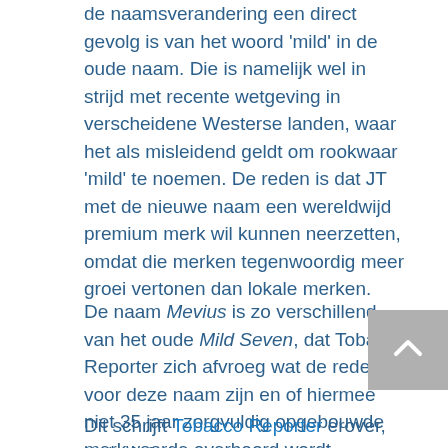de naamsverandering een direct gevolg is van het woord 'mild' in de oude naam. Die is namelijk wel in strijd met recente wetgeving in verscheidene Westerse landen, waar het als misleidend geldt om rookwaar 'mild' te noemen. De reden is dat JT met de nieuwe naam een wereldwijd premium merk wil kunnen neerzetten, omdat die merken tegenwoordig meer groei vertonen dan lokale merken.
De naam Mevius is zo verschillend van het oude Mild Seven, dat Tobacco Reporter zich afvroeg wat de redenen voor deze naam zijn en of hiermee niet 35 jaar zorgvuldig opgebouwde merkwaarde overboord wordt gegooid.
Dit schrijft Tobacco Reporter erover, inclusief